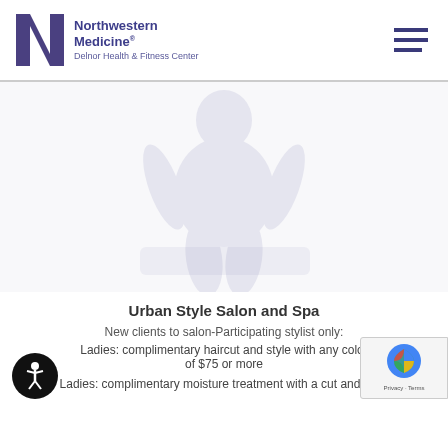[Figure (logo): Northwestern Medicine Delnor Health & Fitness Center logo with NM monogram in purple]
[Figure (illustration): Faint watermark-style background graphic of a person figure, likely a fitness/wellness silhouette, in light purple/gray tones on white background]
Urban Style Salon and Spa
New clients to salon-Participating stylist only:
Ladies: complimentary haircut and style with any color of $75 or more
Ladies: complimentary moisture treatment with a cut and style